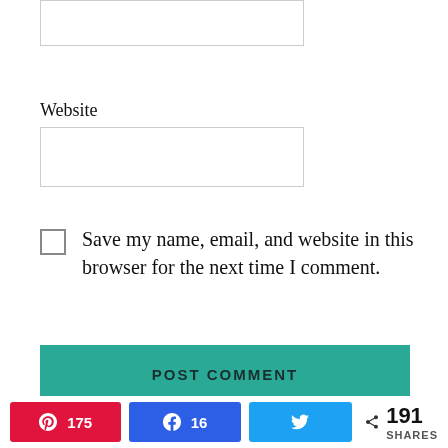Website
Save my name, email, and website in this browser for the next time I comment.
POST COMMENT
This website uses cookies to improve your experience. We'll assume you're ok with this, but you can opt-out if you
175  16  191 SHARES